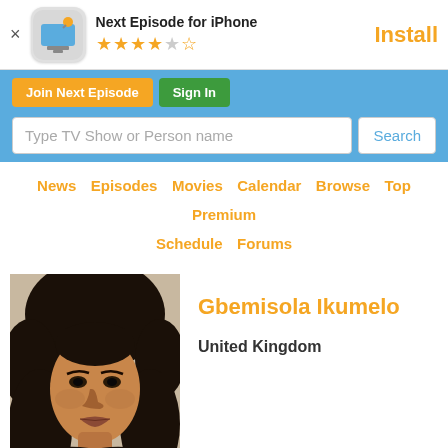[Figure (screenshot): App store banner for 'Next Episode for iPhone' with app icon, 4.5 star rating, and Install button]
Join Next Episode   Sign In
Type TV Show or Person name   Search
News  Episodes  Movies  Calendar  Browse  Top  Premium  Schedule  Forums
[Figure (photo): Headshot photo of Gbemisola Ikumelo, a woman with curly dark hair, wearing dark clothing, photographed against a neutral background]
Gbemisola Ikumelo
United Kingdom